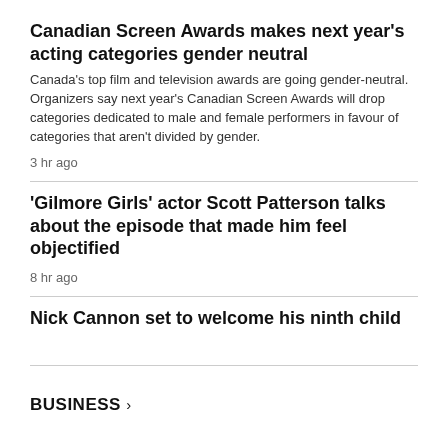Canadian Screen Awards makes next year's acting categories gender neutral
Canada's top film and television awards are going gender-neutral. Organizers say next year's Canadian Screen Awards will drop categories dedicated to male and female performers in favour of categories that aren't divided by gender.
3 hr ago
'Gilmore Girls' actor Scott Patterson talks about the episode that made him feel objectified
8 hr ago
Nick Cannon set to welcome his ninth child
BUSINESS >